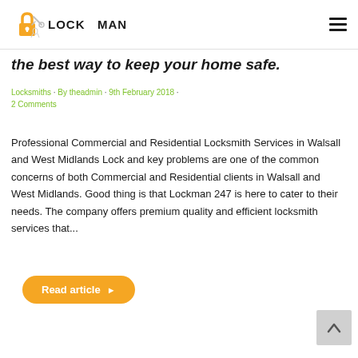[Figure (logo): LockMan logo with padlock and keys icon, text reading LOCK MAN]
the best way to keep your home safe.
Locksmiths • By theadmin • 9th February 2018 • 2 Comments
Professional Commercial and Residential Locksmith Services in Walsall and West Midlands Lock and key problems are one of the common concerns of both Commercial and Residential clients in Walsall and West Midlands. Good thing is that Lockman 247 is here to cater to their needs. The company offers premium quality and efficient locksmith services that...
Read article ▶